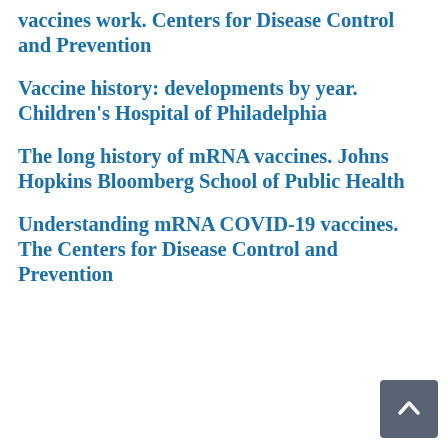vaccines work. Centers for Disease Control and Prevention
Vaccine history: developments by year. Children's Hospital of Philadelphia
The long history of mRNA vaccines. Johns Hopkins Bloomberg School of Public Health
Understanding mRNA COVID-19 vaccines. The Centers for Disease Control and Prevention